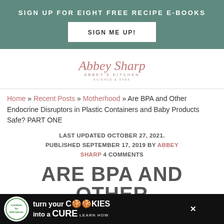SIGN UP FOR EIGHT FREE RECIPE E-BOOKS
SIGN ME UP!
[Figure (logo): Abbey Sharp — Abbey's Kitchen logo with cursive script and subtitle]
Home » Recent Posts » Motherhood » Are BPA and Other Endocrine Disruptors in Plastic Containers and Baby Products Safe? PART ONE
LAST UPDATED OCTOBER 27, 2021. PUBLISHED SEPTEMBER 17, 2019 BY ABBEY SHARP 4 COMMENTS
ARE BPA AND OTHER
[Figure (infographic): Cookies for Kids' Cancer advertisement banner: 'turn your COOKIES into a CURE LEARN HOW']